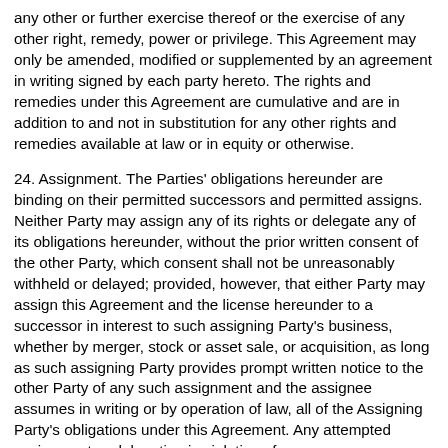any other or further exercise thereof or the exercise of any other right, remedy, power or privilege. This Agreement may only be amended, modified or supplemented by an agreement in writing signed by each party hereto. The rights and remedies under this Agreement are cumulative and are in addition to and not in substitution for any other rights and remedies available at law or in equity or otherwise.
24. Assignment. The Parties' obligations hereunder are binding on their permitted successors and permitted assigns. Neither Party may assign any of its rights or delegate any of its obligations hereunder, without the prior written consent of the other Party, which consent shall not be unreasonably withheld or delayed; provided, however, that either Party may assign this Agreement and the license hereunder to a successor in interest to such assigning Party's business, whether by merger, stock or asset sale, or acquisition, as long as such assigning Party provides prompt written notice to the other Party of any such assignment and the assignee assumes in writing or by operation of law, all of the Assigning Party's obligations under this Agreement. Any attempted assignment or delegation in violation of